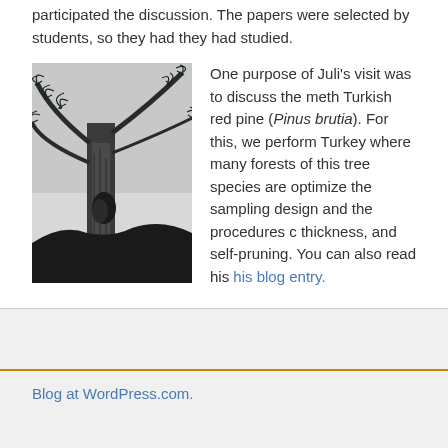participated the discussion. The papers were selected by students, so they had they had studied.
[Figure (photo): Black and white photograph taken from below looking up at a Turkish red pine tree (Pinus brutia), showing the trunk and branches with pine needles against a light sky.]
One purpose of Juli's visit was to discuss the meth Turkish red pine (Pinus brutia). For this, we perform Turkey where many forests of this tree species are optimize the sampling design and the procedures c thickness, and self-pruning. You can also read his his blog entry.
Blog at WordPress.com.